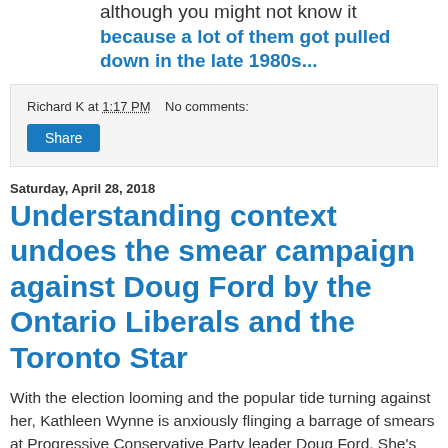although you might not know it because a lot of them got pulled down in the late 1980s...
Richard K at 1:17 PM   No comments:
Share
Saturday, April 28, 2018
Understanding context undoes the smear campaign against Doug Ford by the Ontario Liberals and the Toronto Star
With the election looming and the popular tide turning against her, Kathleen Wynne is anxiously flinging a barrage of smears at Progressive Conservative Party leader Doug Ford. She's been trying to twin Doug with Donald Trump, hoping that polite Canadian sensibilities will be repelled by the thought of Ontario being led by someone who may be as